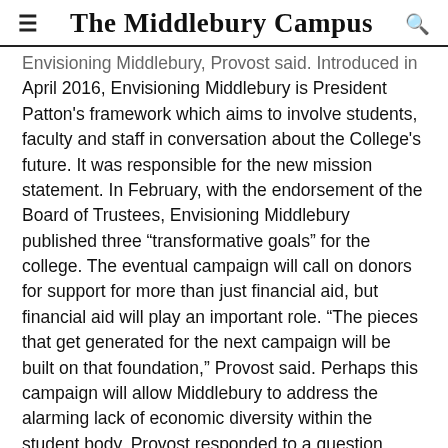The Middlebury Campus
Envisioning Middlebury, Provost said. Introduced in April 2016, Envisioning Middlebury is President Patton's framework which aims to involve students, faculty and staff in conversation about the College's future. It was responsible for the new mission statement. In February, with the endorsement of the Board of Trustees, Envisioning Middlebury published three “transformative goals” for the college. The eventual campaign will call on donors for support for more than just financial aid, but financial aid will play an important role. “The pieces that get generated for the next campaign will be built on that foundation,” Provost said. Perhaps this campaign will allow Middlebury to address the alarming lack of economic diversity within the student body. Provost responded to a question about selling the idea of financial aid and accessibility to donors. “I’m in higher education for the reason of